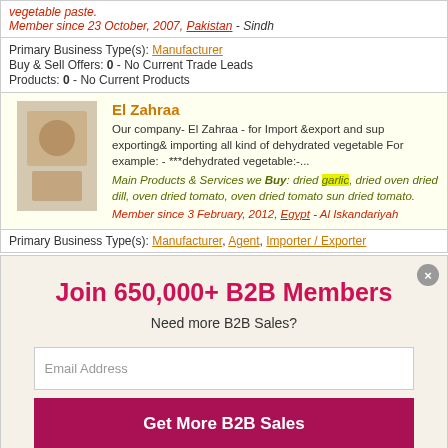vegetable paste. Member since 23 October, 2007, Pakistan - Sindh
Primary Business Type(s): Manufacturer
Buy & Sell Offers: 0 - No Current Trade Leads
Products: 0 - No Current Products
El Zahraa
Our company- El Zahraa - for Import &export and sup exporting& importing all kind of dehydrated vegetable For example: - ***dehydrated vegetable:-...
Main Products & Services we Buy: dried garlic, dried oven dried dill, oven dried tomato, oven dried tomato sun dried tomato.
Member since 3 February, 2012, Egypt - Al Iskandariyah
Primary Business Type(s): Manufacturer, Agent, Importer / Exporter
Join 650,000+ B2B Members
Need more B2B Sales?
Email Address
Get More B2B Sales